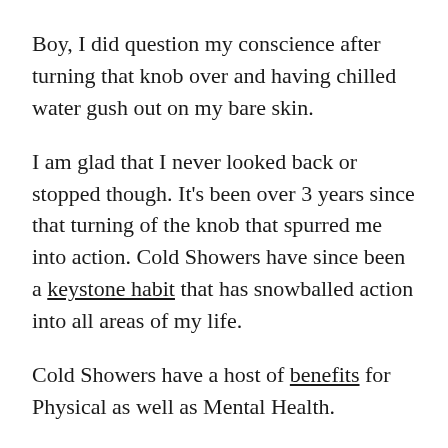Boy, I did question my conscience after turning that knob over and having chilled water gush out on my bare skin.
I am glad that I never looked back or stopped though. It's been over 3 years since that turning of the knob that spurred me into action. Cold Showers have since been a keystone habit that has snowballed action into all areas of my life.
Cold Showers have a host of benefits for Physical as well as Mental Health.
Improved Overall Health
Better Skin and Hair Health